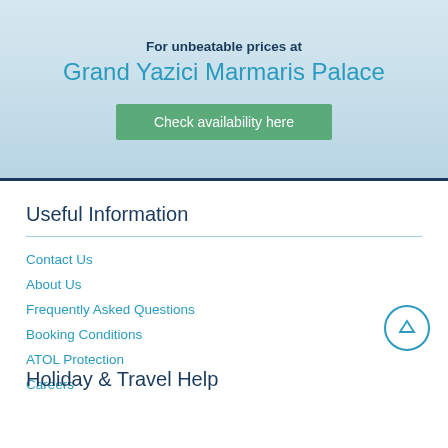For unbeatable prices at
Grand Yazici Marmaris Palace
Check availability here
Useful Information
Contact Us
About Us
Frequently Asked Questions
Booking Conditions
ATOL Protection
Careers
Holiday & Travel Help